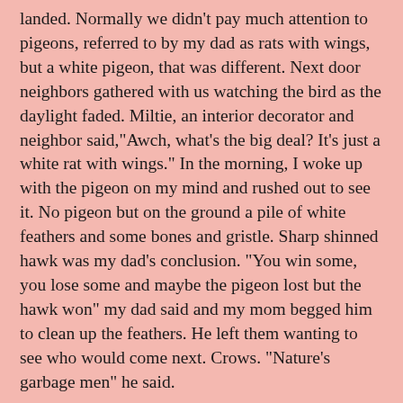landed. Normally we didn't pay much attention to pigeons, referred to by my dad as rats with wings, but a white pigeon, that was different. Next door neighbors gathered with us watching the bird as the daylight faded. Miltie, an interior decorator and neighbor said,"Awch, what's the big deal? It's just a white rat with wings." In the morning, I woke up with the pigeon on my mind and rushed out to see it. No pigeon but on the ground a pile of white feathers and some bones and gristle. Sharp shinned hawk was my dad's conclusion. "You win some, you lose some and maybe the pigeon lost but the hawk won" my dad said and my mom begged him to clean up the feathers. He left them wanting to see who would come next. Crows. “Nature’s garbage men” he said.
Across Avenue N, off of East 22nd street was a slim angled side street called Olean Street. I loved that it had a name and not a number. Olean sounded like a tree to me or someplace southern. It was as though the builders of Brooklyn had forgotten it was there or gave up on developing its scraggly edges. One side of this very small